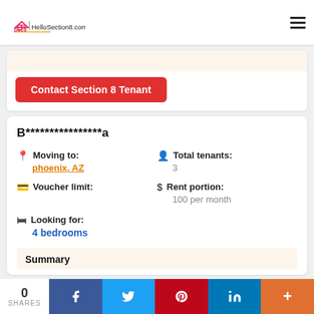HelloSection8.com
Contact Section 8 Tenant
B****************a
Moving to: phoenix, AZ
Total tenants: 3
Voucher limit:
Rent portion: 100 per month
Looking for: 4 bedrooms
Summary